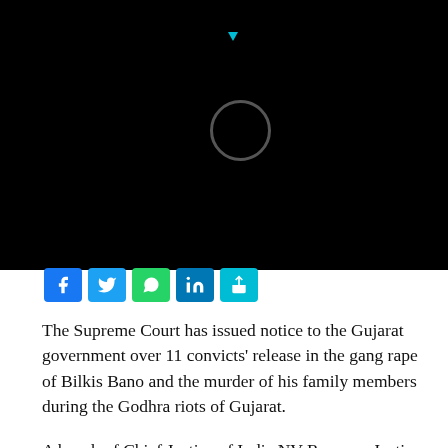[Figure (screenshot): Black header area with loading spinner circle and small cyan/teal triangle dot above it, representing a loading screen on a mobile browser or app]
[Figure (infographic): Row of social media share buttons: Facebook (blue), Twitter (light blue), WhatsApp (green), LinkedIn (dark blue), Share (cyan)]
The Supreme Court has issued notice to the Gujarat government over 11 convicts' release in the gang rape of Bilkis Bano and the murder of his family members during the Godhra riots of Gujarat.
A bench of Chief Justice of India NV Ramana, Justice Ajay Rastogi, and Justice Vikram Nath issued notice to the state government
The court asked, “Issue notice. File your reply. We direct the 11 convicts to be impleaded in the case.”